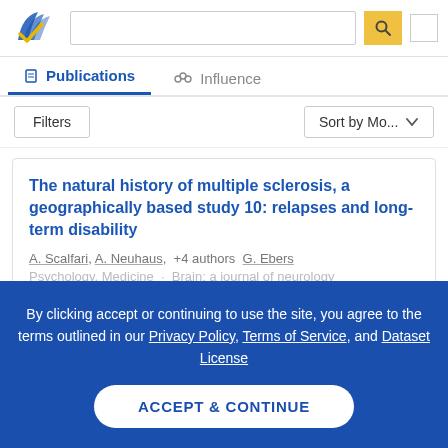[Figure (logo): Semantic Scholar logo with blue stylized feather/book icon and yellow checkmark]
Publications | Influence tabs with search bar and filter/sort controls
The natural history of multiple sclerosis, a geographically based study 10: relapses and long-term disability
A. Scalfari, A. Neuhaus, +4 authors G. Ebers
Psychology, Medicine · Brain: a journal of neurology
By clicking accept or continuing to use the site, you agree to the terms outlined in our Privacy Policy, Terms of Service, and Dataset License
ACCEPT & CONTINUE